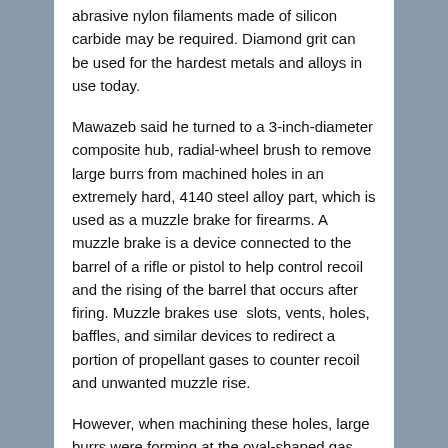abrasive nylon filaments made of silicon carbide may be required. Diamond grit can be used for the hardest metals and alloys in use today.
Mawazeb said he turned to a 3-inch-diameter composite hub, radial-wheel brush to remove large burrs from machined holes in an extremely hard, 4140 steel alloy part, which is used as a muzzle brake for firearms. A muzzle brake is a device connected to the barrel of a rifle or pistol to help control recoil and the rising of the barrel that occurs after firing. Muzzle brakes use  slots, vents, holes, baffles, and similar devices to redirect a portion of propellant gases to counter recoil and unwanted muzzle rise.
However, when machining these holes, large burrs were forming at the oval-shaped gas ports. The cylinder was made of 4140 steel, which is a 1